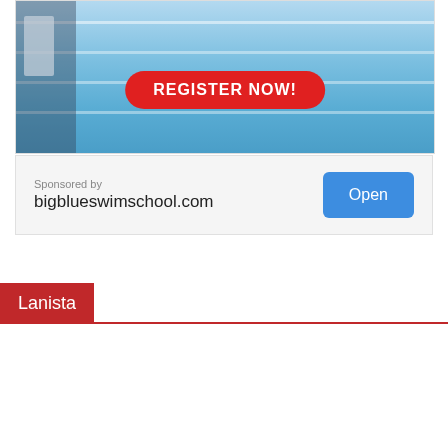[Figure (photo): Swimming pool lanes with blue water, lane dividers, starting blocks visible. Red rounded-rectangle button overlay with white bold text 'REGISTER NOW!']
Sponsored by
bigblueswimschool.com
Open
Lanista